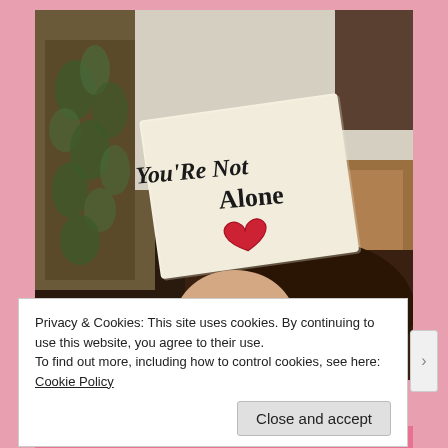[Figure (photo): A photograph of a hand holding a white card/note with the handwritten text 'YOU'RE NOT ALONE' and a red hand-drawn heart below the text. The background shows a room with a floral pattern object on the left and what appears to be brown furniture/cushions on the right.]
Privacy & Cookies: This site uses cookies. By continuing to use this website, you agree to their use.
To find out more, including how to control cookies, see here: Cookie Policy
Close and accept